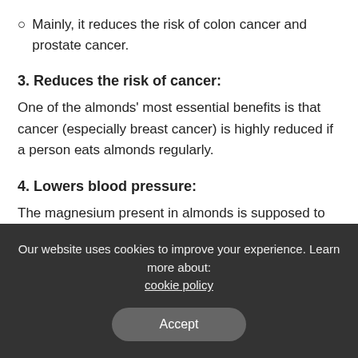Mainly, it reduces the risk of colon cancer and prostate cancer.
3. Reduces the risk of cancer:
One of the almonds' most essential benefits is that cancer (especially breast cancer) is highly reduced if a person eats almonds regularly.
4. Lowers blood pressure:
The magnesium present in almonds is supposed to lower blood pressure as it allows more blood flow in arteries. This, in turn,
Our website uses cookies to improve your experience. Learn more about: cookie policy
Accept